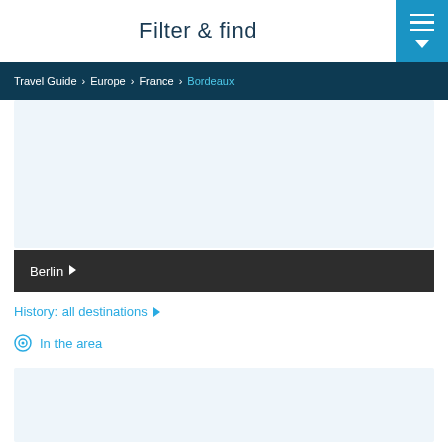Filter & find
Travel Guide > Europe > France > Bordeaux
Berlin >
History: all destinations >
In the area
[Figure (other): Light blue placeholder content area]